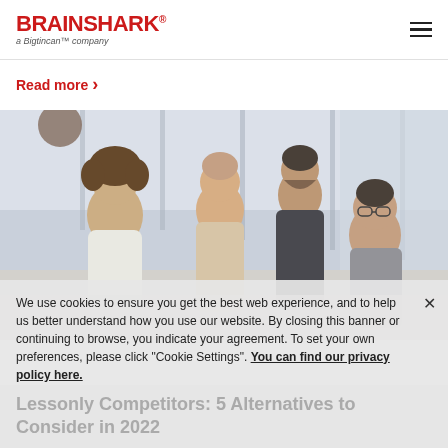BRAINSHARK a Bigtincan™ company
Read more >
[Figure (photo): Four business professionals gathered around a table in a bright office with large windows, collaborating and smiling.]
We use cookies to ensure you get the best web experience, and to help us better understand how you use our website. By closing this banner or continuing to browse, you indicate your agreement. To set your own preferences, please click "Cookie Settings". You can find our privacy policy here.
Lessonly Competitors: 5 Alternatives to Consider in 2022